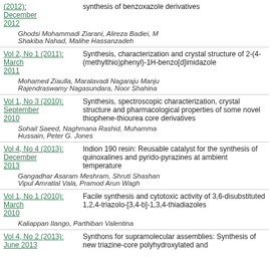| Volume/Issue | Article Title |
| --- | --- |
| (2012): December 2012 | synthesis of benzoxazole derivatives |
| [authors] | Ghodsi Mohammadi Ziarani, Alireza Badiei, M... Shakiba Nahad, Malihe Hassanzadeh |
| Vol 2, No 1 (2011): March 2011 | Synthesis, characterization and crystal structure of 2-(4-(methylthio)phenyl)-1H-benzo[d]imidazole |
| [authors] | Mohamed Ziaulla, Maralavadi Nagaraju Manju... Rajendraswamy Nagasundara, Noor Shahina |
| Vol 1, No 3 (2010): September 2010 | Synthesis, spectroscopic characterization, crystal structure and pharmacological properties of some novel thiophene-thiourea core derivatives |
| [authors] | Sohail Saeed, Naghmana Rashid, Muhammad... Hussain, Peter G. Jones |
| Vol 4, No 4 (2013): December 2013 | Indion 190 resin: Reusable catalyst for the synthesis of quinoxalines and pyrido-pyrazines at ambient temperature |
| [authors] | Gangadhar Asaram Meshram, Shruti Shashan... Vipul Amratlal Vala, Pramod Arun Wagh |
| Vol 1, No 1 (2010): March 2010 | Facile synthesis and cytotoxic activity of 3,6-disubstituted 1,2,4-triazolo-[3,4-b]-1,3,4-thiadiazoles |
| [authors] | Kaliappan Ilango, Parthiban Valentina |
| Vol 4, No 2 (2013): June 2013 | Synthons for supramolecular assemblies: Synthesis of new triazine-core polyhydroxylated and |